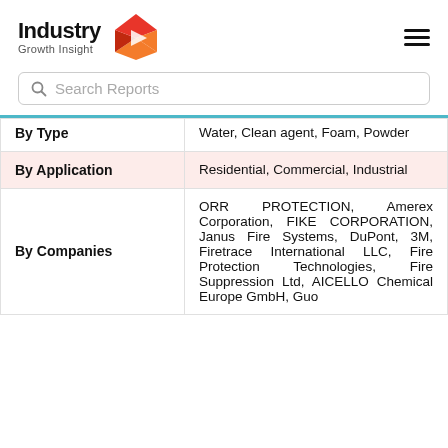Industry Growth Insight
| Category | Details |
| --- | --- |
| By Type | Water, Clean agent, Foam, Powder |
| By Application | Residential, Commercial, Industrial |
| By Companies | ORR PROTECTION, Amerex Corporation, FIKE CORPORATION, Janus Fire Systems, DuPont, 3M, Firetrace International LLC, Fire Protection Technologies, Fire Suppression Ltd, AICELLO Chemical Europe GmbH, Guo |